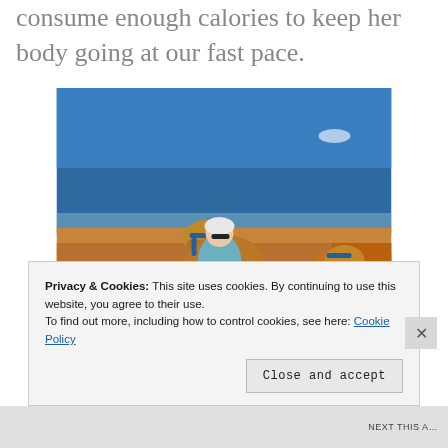consume enough calories to keep her body going at our fast pace.
[Figure (photo): A woman wearing sunglasses and a light blue shirt riding a camel in a desert landscape with sandy dunes and blue sky]
Privacy & Cookies: This site uses cookies. By continuing to use this website, you agree to their use.
To find out more, including how to control cookies, see here: Cookie Policy